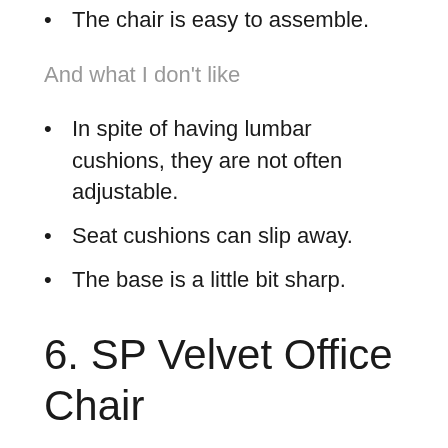The chair is easy to assemble.
And what I don't like
In spite of having lumbar cushions, they are not often adjustable.
Seat cushions can slip away.
The base is a little bit sharp.
6. SP Velvet Office Chair
This velvet office chair from the SeatingPlus brand is one of the most comfortable chairs available in the market. Its well-padded back support and soft seat make it a considerable choice for people with back and tailbone pain